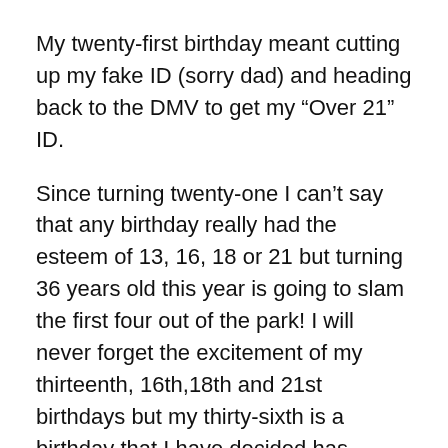My twenty-first birthday meant cutting up my fake ID (sorry dad) and heading back to the DMV to get my “Over 21” ID.
Since turning twenty-one I can’t say that any birthday really had the esteem of 13, 16, 18 or 21 but turning 36 years old this year is going to slam the first four out of the park! I will never forget the excitement of my thirteenth, 16th,18th and 21st birthdays but my thirty-sixth is a birthday that I have decided has special meaning.
Don’t get me wrong they were four amazing birthdays, collectively they were a grand slam, each signifying each as a home run